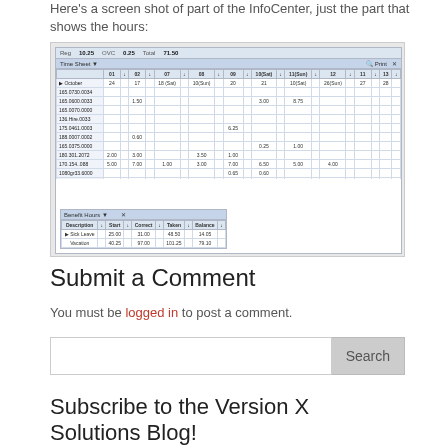Here's a screen shot of part of the InfoCenter, just the part that shows the hours:
[Figure (screenshot): Screenshot of an InfoCenter time sheet application showing a grid with employee hours by date columns, and a sub-table showing Sick Leave and Vacation hours with columns for Description, Start, Correct, Taken, Balance.]
Submit a Comment
You must be logged in to post a comment.
Search
Subscribe to the Version X Solutions Blog!